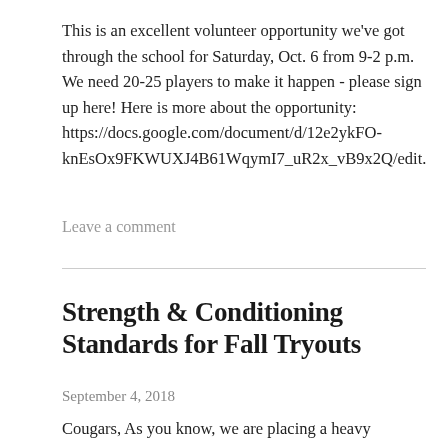This is an excellent volunteer opportunity we've got through the school for Saturday, Oct. 6 from 9-2 p.m. We need 20-25 players to make it happen - please sign up here! Here is more about the opportunity: https://docs.google.com/document/d/12e2ykFO-knEsOx9FKWUXJ4B61WqymI7_uR2x_vB9x2Q/edit.
Leave a comment
Strength & Conditioning Standards for Fall Tryouts
September 4, 2018
Cougars, As you know, we are placing a heavy emphasis on developing strength, agility and athleticism during this